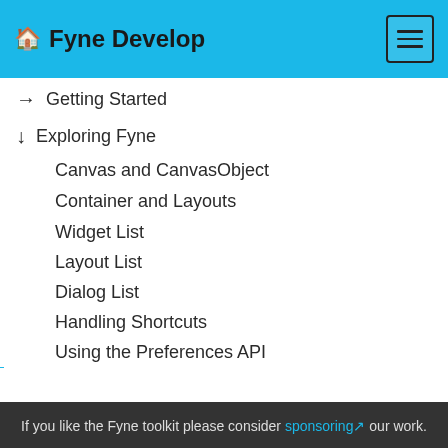Fyne Develop
→ Getting Started
↓ Exploring Fyne
Canvas and CanvasObject
Container and Layouts
Widget List
Layout List
Dialog List
Handling Shortcuts
Using the Preferences API
System Tray
If you like the Fyne toolkit please consider sponsoring our work.